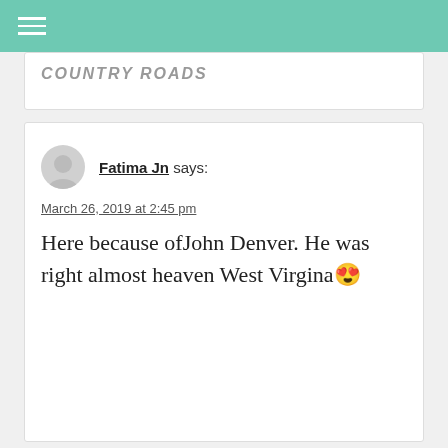COUNTRY ROADS
COUNTRY ROADS
Fatima Jn says:
March 26, 2019 at 2:45 pm
Here because ofJohn Denver. He was right almost heaven West Virgina 😍
robie bag says:
June 16, 2019 at 6:58 pm